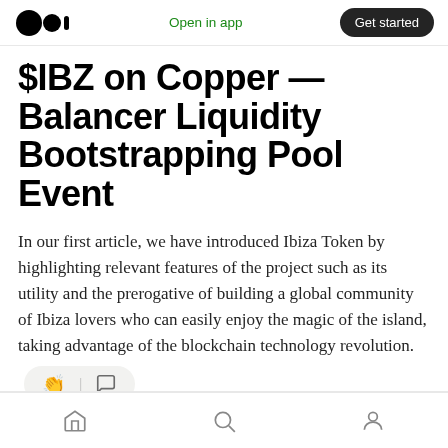Open in app | Get started
$IBZ on Copper — Balancer Liquidity Bootstrapping Pool Event
In our first article, we have introduced Ibiza Token by highlighting relevant features of the project such as its utility and the prerogative of building a global community of Ibiza lovers who can easily enjoy the magic of the island, taking advantage of the blockchain technology revolution.
Home | Search | Profile